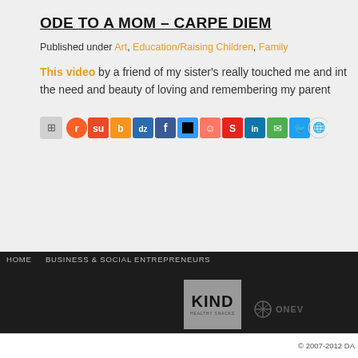ODE TO A MOM – CARPE DIEM
Published under Art, Education/Raising Children, Family
This video by a friend of my sister's really touched me and int the need and beauty of loving and remembering my parent
[Figure (other): Row of social sharing icons including Reddit, StumbleUpon, Blinklist, Digg, Delicious, Facebook, Delicious, Technorati, Stumble, LinkedIn, Google Talk, Twitter, Google]
PREVIOUS PAGE
HOME   BUSINESS & SOCIAL ENTREPRENEURS
© 2007-2012 DA